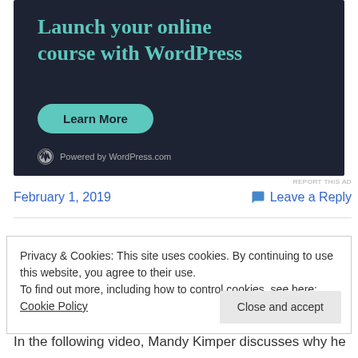[Figure (screenshot): Dark-background advertisement banner for WordPress online course featuring teal heading text 'Launch your online course with WordPress', a teal 'Learn More' button, WordPress logo and 'Powered by WordPress.com' text]
REPORT THIS AD
February 1, 2019
Leave a Reply
Privacy & Cookies: This site uses cookies. By continuing to use this website, you agree to their use.
To find out more, including how to control cookies, see here: Cookie Policy
Close and accept
In the following video, Mandy Kimper discusses why he